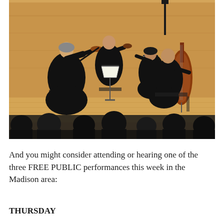[Figure (photo): A string quartet performing on stage in a concert hall with wooden panel walls. Four musicians dressed in black are seated and playing instruments (two violins, one viola, one cello) with music stands in front of them. An audience is visible in the foreground, seen from behind.]
And you might consider attending or hearing one of the three FREE PUBLIC performances this week in the Madison area:
THURSDAY